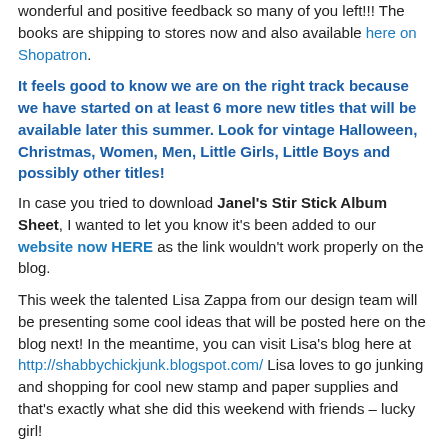wonderful and positive feedback so many of you left!!! The books are shipping to stores now and also available here on Shopatron.
It feels good to know we are on the right track because we have started on at least 6 more new titles that will be available later this summer. Look for vintage Halloween, Christmas, Women, Men, Little Girls, Little Boys and possibly other titles!
In case you tried to download Janel's Stir Stick Album Sheet, I wanted to let you know it's been added to our website now HERE as the link wouldn't work properly on the blog.
This week the talented Lisa Zappa from our design team will be presenting some cool ideas that will be posted here on the blog next! In the meantime, you can visit Lisa's blog here at http://shabbychickjunk.blogspot.com/ Lisa loves to go junking and shopping for cool new stamp and paper supplies and that's exactly what she did this weekend with friends – lucky girl!